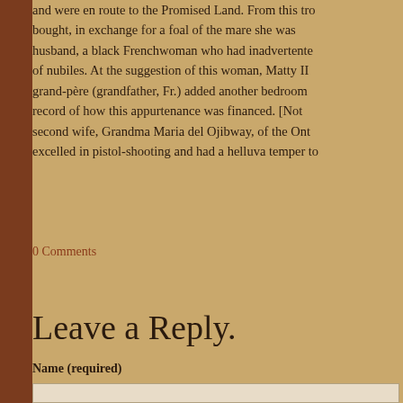and were en route to the Promised Land. From this tro bought, in exchange for a foal of the mare she was husband, a black Frenchwoman who had inadvertently of nubiles. At the suggestion of this woman, Matty II grand-père (grandfather, Fr.) added another bedroom record of how this appurtenance was financed. [Not second wife, Grandma Maria del Ojibway, of the Ont excelled in pistol-shooting and had a helluva temper to
0 Comments
Leave a Reply.
Name (required)